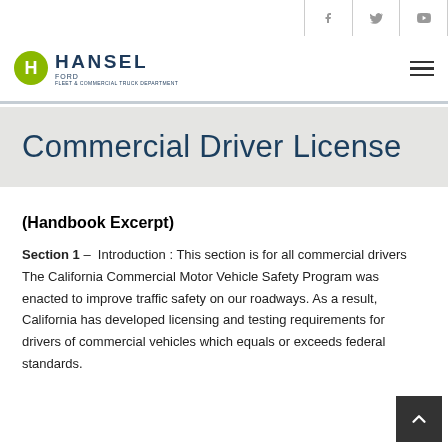[Figure (logo): Hansel Ford Fleet & Commercial Truck Department logo with green circle H icon]
Commercial Driver License
(Handbook Excerpt)
Section 1 – Introduction : This section is for all commercial drivers The California Commercial Motor Vehicle Safety Program was enacted to improve traffic safety on our roadways. As a result, California has developed licensing and testing requirements for drivers of commercial vehicles which equals or exceeds federal standards.